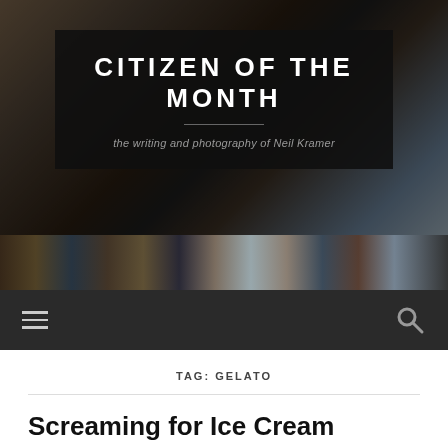[Figure (photo): Website header banner with photography background showing urban/architectural scene with colors ranging from brown, blue, and gray tones. Contains dark overlay box with site title and tagline.]
CITIZEN OF THE MONTH
the writing and photography of Neil Kramer
TAG: GELATO
Screaming for Ice Cream
JUNE 24, 2005 / 23 COMMENTS
[Figure (photo): Partial thumbnail image at bottom of page, appears to be a photograph related to the blog post]